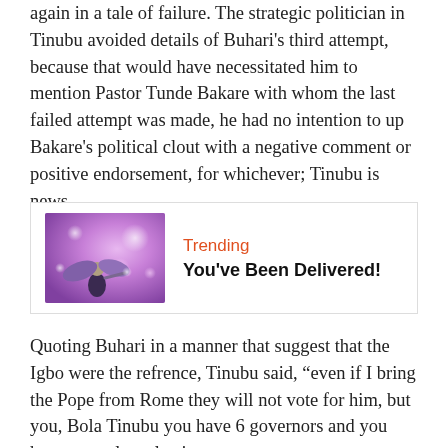again in a tale of failure. The strategic politician in Tinubu avoided details of Buhari's third attempt, because that would have necessitated him to mention Pastor Tunde Bakare with whom the last failed attempt was made, he had no intention to up Bakare's political clout with a negative comment or positive endorsement, for whichever; Tinubu is news.
[Figure (illustration): A decorative image showing an angel figure with purple/pink bokeh background, used as a thumbnail for a trending article]
Trending
You've Been Delivered!
Quoting Buhari in a manner that suggest that the Igbo were the refrence, Tinubu said, “even if I bring the Pope from Rome they will not vote for him, but you, Bola Tinubu you have 6 governors and you have never lost election.